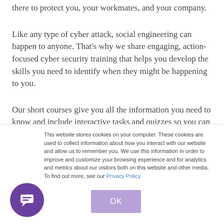there to protect you, your workmates, and your company.
Like any type of cyber attack, social engineering can happen to anyone. That’s why we share engaging, action-focused cyber security training that helps you develop the skills you need to identify when they might be happening to you.
Our short courses give you all the information you need to know and include interactive tasks and quizzes so you can
This website stores cookies on your computer. These cookies are used to collect information about how you interact with our website and allow us to remember you. We use this information in order to improve and customize your browsing experience and for analytics and metrics about our visitors both on this website and other media. To find out more, see our Privacy Policy